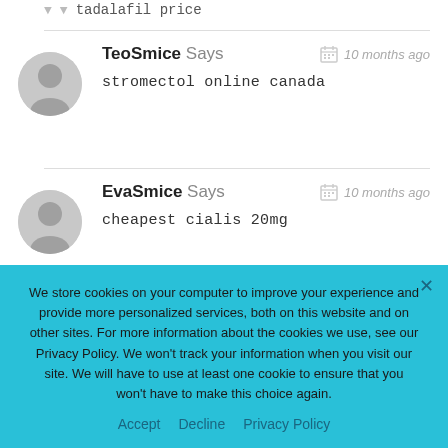tadalafil price
TeoSmice Says
stromectol online canada
10 months ago
EvaSmice Says
cheapest cialis 20mg
10 months ago
We store cookies on your computer to improve your experience and provide more personalized services, both on this website and on other sites. For more information about the cookies we use, see our Privacy Policy. We won't track your information when you visit our site. We will have to use at least one cookie to ensure that you won't have to make this choice again.
Accept  Decline  Privacy Policy